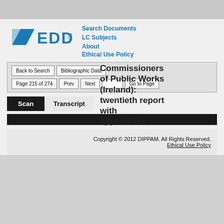[Figure (logo): EDDI logo with blue parallelogram shape and blue EDDI text with copyright symbol]
Search Documents
LC Subjects
About
Ethical Use Policy
Commissioners of Public Works (Ireland): twentieth report with appendices
Back to Search | Bibliographic Data | Page 215 of 274 | Prev | Next | Go to Page
Scan | Transcript
Copyright © 2012 DIPPAM. All Rights Reserved. Ethical Use Policy